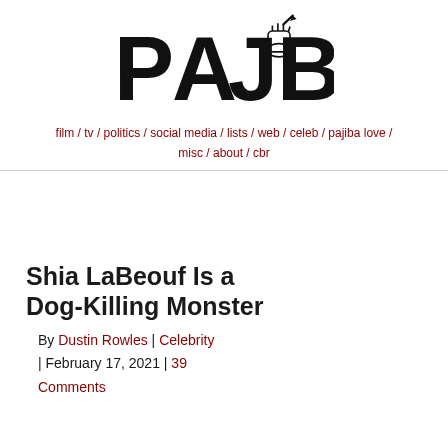PAJIBA
film / tv / politics / social media / lists / web / celeb / pajiba love / misc / about / cbr
Shia LaBeouf Is a Dog-Killing Monster
By Dustin Rowles | Celebrity | February 17, 2021 | 39 Comments